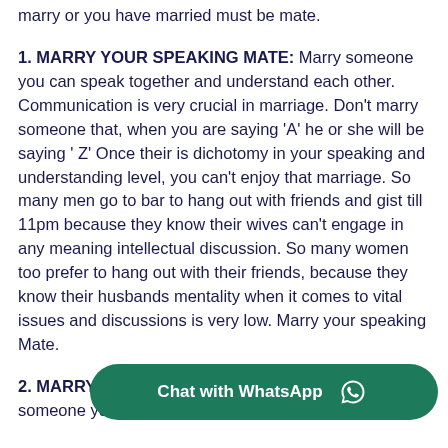marry or you have married must be mate.
1. MARRY YOUR SPEAKING MATE: Marry someone you can speak together and understand each other. Communication is very crucial in marriage. Don't marry someone that, when you are saying 'A' he or she will be saying ' Z' Once their is dichotomy in your speaking and understanding level, you can't enjoy that marriage. So many men go to bar to hang out with friends and gist till 11pm because they know their wives can't engage in any meaning intellectual discussion. So many women too prefer to hang out with their friends, because they know their husbands mentality when it comes to vital issues and discussions is very low. Marry your speaking Mate.
2. MARRY YOUR 'SCHOOL' M... someone you can learn together and improve together.
[Figure (other): WhatsApp Chat button overlay with green rounded rectangle background, WhatsApp icon on right, text 'Chat with WhatsApp']